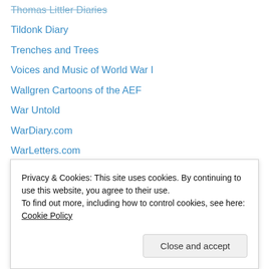Thomas Littler Diaries
Tildonk Diary
Trenches and Trees
Voices and Music of World War I
Wallgren Cartoons of the AEF
War Untold
WarDiary.com
WarLetters.com
Western Front Association
Western Front Photography
World War I Document Archive
World War I Research Institute
World War I Troopships
WORLD WAR ONE: THE U.S. ARMY OVERSEAS by Charles
Privacy & Cookies: This site uses cookies. By continuing to use this website, you agree to their use.
To find out more, including how to control cookies, see here: Cookie Policy